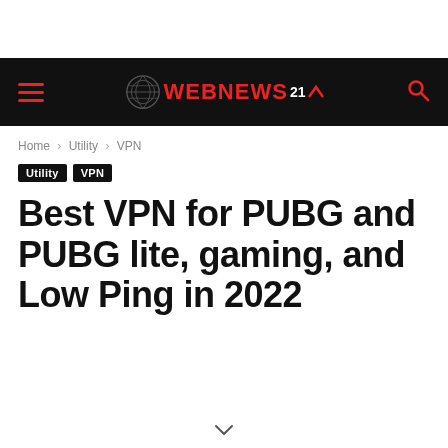WEBNEWS 21
Home › Utility › VPN
Utility  VPN
Best VPN for PUBG and PUBG lite, gaming, and Low Ping in 2022